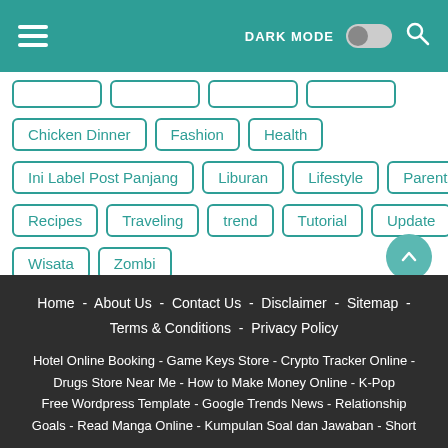☰  DARK MODE  [toggle]  🔍
Chicken Dinner
Fashion
Health
Ini Label Post Panjang
Liburan
Lifestyle
Parenting
Recipes
Traveling
trend
Tutorial
Update
Video
Wisata
Zombi
Home - About Us - Contact Us - Disclaimer - Sitemap - Terms & Conditions - Privacy Policy

Hotel Online Booking - Game Keys Store - Crypto Tracker Online - Drugs Store Near Me - How to Make Money Online - K-Pop - Free Wordpress Template - Google Trends News - Relationship Goals - Read Manga Online - Kumpulan Soal dan Jawaban - Short